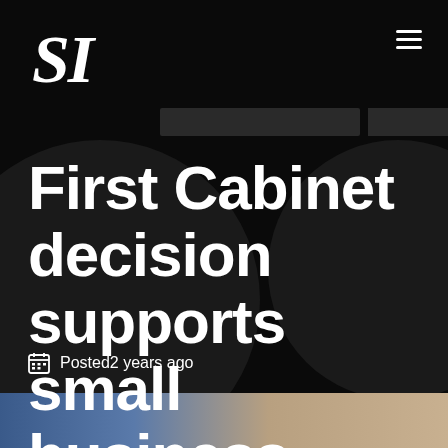SI logo and navigation menu
First Cabinet decision supports small business
Posted2 years ago